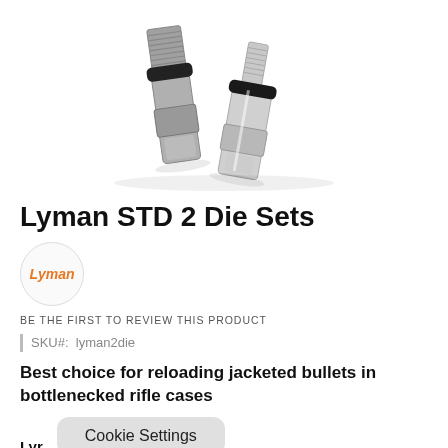[Figure (photo): Two Lyman reloading dies, metallic silver/black finish, shown at an angle on white background]
Lyman STD 2 Die Sets
[Figure (logo): Lyman brand logo in orange italic text inside a grey circle badge]
BE THE FIRST TO REVIEW THIS PRODUCT
SKU#: lyman2die
Best choice for reloading jacketed bullets in bottlenecked rifle cases
Lyr
Cookie Settings